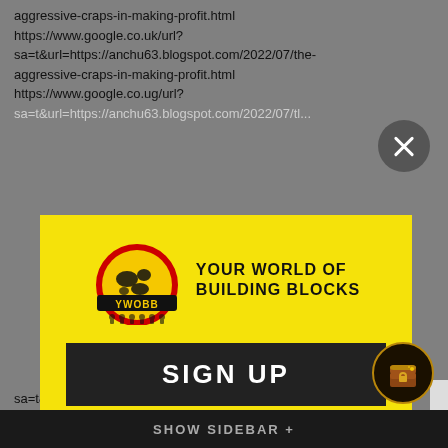aggressive-craps-in-making-profit.html https://www.google.co.uk/url?sa=t&url=https://anchu63.blogspot.com/2022/07/the-aggressive-craps-in-making-profit.html https://www.google.co.ug/url?
[Figure (logo): YWOBB logo with globe and 'YOUR WORLD OF BUILDING BLOCKS' text]
SIGN UP
GET OUR NEWSLETTER & SAVE!
ENTER YOUR EMAIL
SUBSCRIBE
sa=t&url=https://anchu63.blogspot.com/2...ile-
SHOW SIDEBAR +